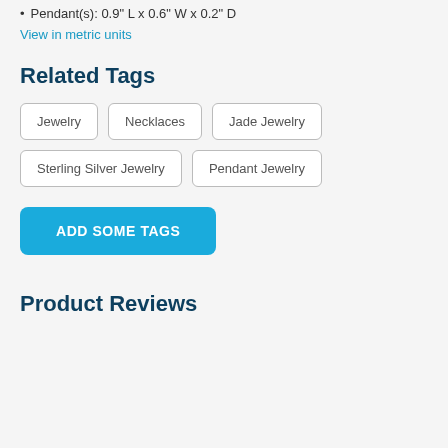Pendant(s): 0.9" L x 0.6" W x 0.2" D
View in metric units
Related Tags
Jewelry
Necklaces
Jade Jewelry
Sterling Silver Jewelry
Pendant Jewelry
ADD SOME TAGS
Product Reviews